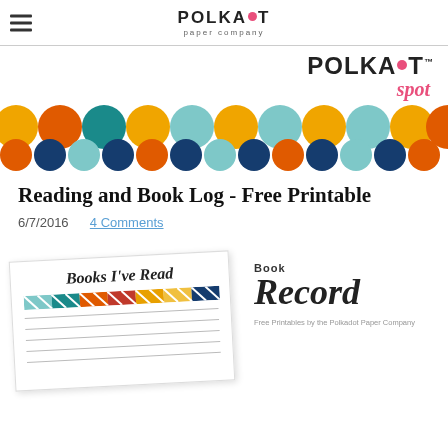POLKADOT paper company
[Figure (logo): Polkadot Spot banner logo with colorful polka dot strip]
Reading and Book Log - Free Printable
6/7/2016  4 Comments
[Figure (photo): Preview of printable: a 'Books I've Read' card with colorful diagonal stripes and lined fields, and a 'Book Record' logo with subtitle 'Free Printables by the Polkadot Paper Company']